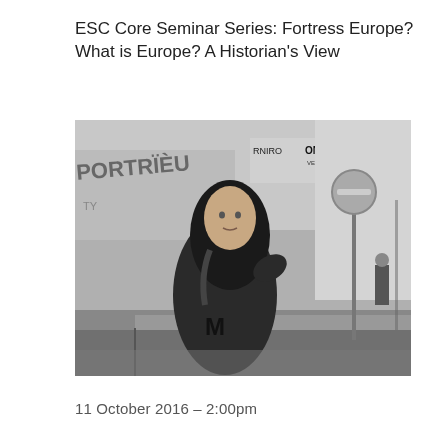ESC Core Seminar Series: Fortress Europe? What is Europe? A Historian's View
[Figure (photo): Black and white photograph of a young person with long hair wearing a jacket with an 'M' letter, standing on a sidewalk in front of a wall with graffiti and signage reading 'RNIRO' and 'ONS BANANES'. A no-entry road sign is visible on a pole, and another person is visible in the background.]
11 October 2016 – 2:00pm